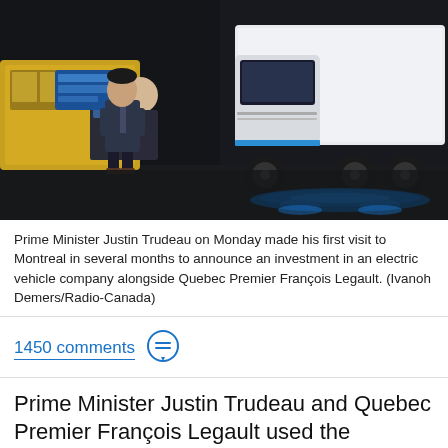[Figure (photo): Prime Minister Justin Trudeau standing at a podium on a stage, with a large white electric transport truck beside him lit with blue accent lighting. Another person is seated behind him. There is a yellow electric bus visible in the background.]
Prime Minister Justin Trudeau on Monday made his first visit to Montreal in several months to announce an investment in an electric vehicle company alongside Quebec Premier François Legault. (Ivanoh Demers/Radio-Canada)
1450 comments
Prime Minister Justin Trudeau and Quebec Premier François Legault used the announcement